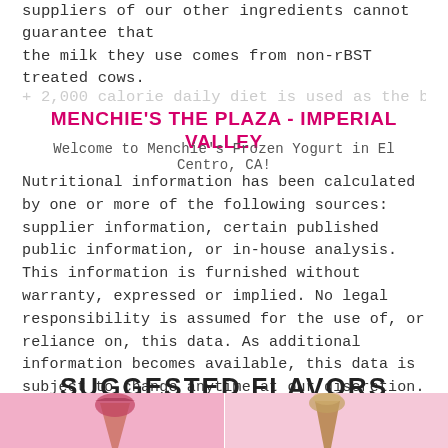suppliers of our other ingredients cannot guarantee that the milk they use comes from non-rBST treated cows.
MENCHIE'S THE PLAZA - IMPERIAL VALLEY
Welcome to Menchie's Frozen Yogurt in El Centro, CA!
Nutritional information has been calculated by one or more of the following sources: supplier information, certain published public information, or in-house analysis. This information is furnished without warranty, expressed or implied. No legal responsibility is assumed for the use of, or reliance on, this data. As additional information becomes available, this data is subject to change anytime at our discretion.
SUGGESTED FLAVORS
[Figure (photo): Two pink-background panels at the bottom showing frozen yogurt cone/treat images]